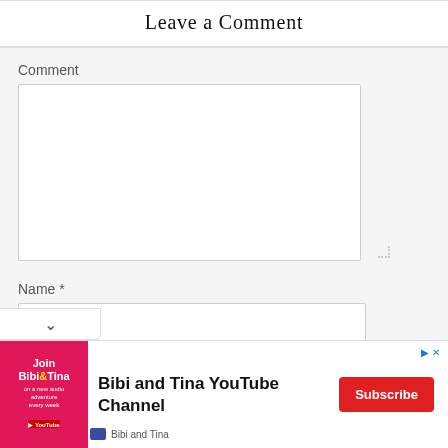Leave a Comment
Comment
Name *
[Figure (screenshot): Web form with comment textarea and name input field, plus a Bibi and Tina YouTube Channel advertisement banner at the bottom with a Subscribe button]